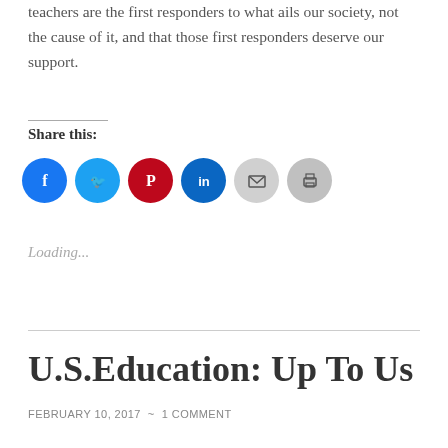teachers are the first responders to what ails our society, not the cause of it, and that those first responders deserve our support.
Share this:
[Figure (infographic): Social sharing icons: Facebook (blue circle), Twitter (cyan circle), Pinterest (red circle), LinkedIn (dark blue circle), Email (grey circle), Print (grey circle)]
Loading...
U.S.Education: Up To Us
FEBRUARY 10, 2017 ~ 1 COMMENT